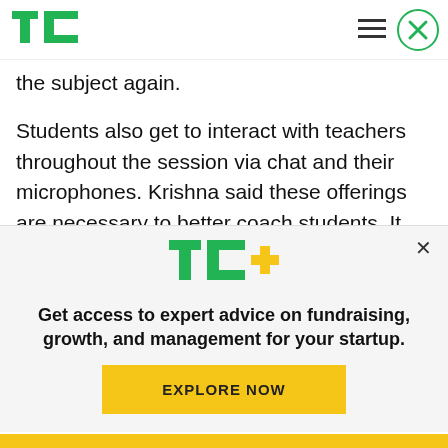TechCrunch
the subject again.

Students also get to interact with teachers throughout the session via chat and their microphones. Krishna said these offerings are necessary to better coach students. It also differentiates Vedantu from other edtech startups in India...
[Figure (screenshot): TechCrunch TC+ paywall overlay with logo, headline 'Get access to expert advice on fundraising, growth, and management for your startup.' and an EXPLORE NOW button]
Get access to expert advice on fundraising, growth, and management for your startup.
EXPLORE NOW